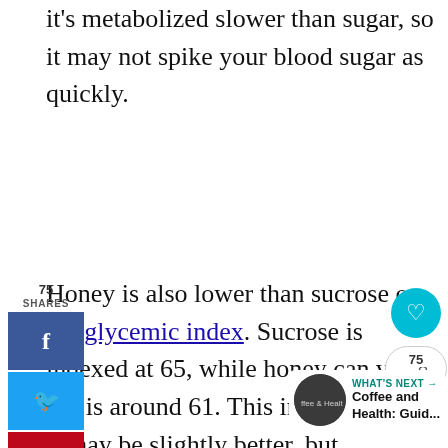it's metabolized slower than sugar, so it may not spike your blood sugar as quickly.
Honey is also lower than sucrose on the glycemic index. Sucrose is indexed at 65, while honey can vary but is around 61. This indicates that it may be slightly better, but according to the Mayo Clinic, those with diabetes need to know that it will still affect their blood sugar.
[Figure (screenshot): Social media sharing sidebar with Facebook, Twitter, Pinterest buttons showing 75 shares, and a heart/share widget on the right side.]
[Figure (screenshot): What's Next widget showing Coffee and Health: Guid... article link with thumbnail.]